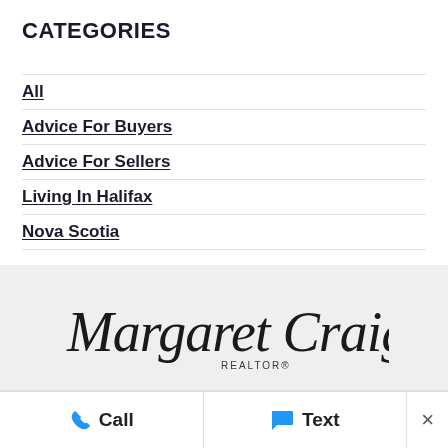CATEGORIES
All
Advice For Buyers
Advice For Sellers
Living In Halifax
Nova Scotia
RSS Feed
[Figure (logo): Margaret Craig REALTOR® signature logo in cursive script on light grey background]
Call   Text   ×